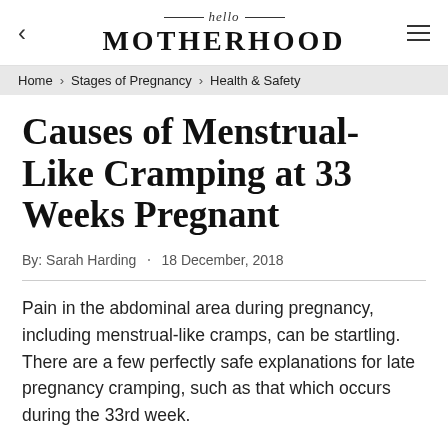hello MOTHERHOOD
Home > Stages of Pregnancy > Health & Safety
Causes of Menstrual-Like Cramping at 33 Weeks Pregnant
By: Sarah Harding · 18 December, 2018
Pain in the abdominal area during pregnancy, including menstrual-like cramps, can be startling. There are a few perfectly safe explanations for late pregnancy cramping, such as that which occurs during the 33rd week.